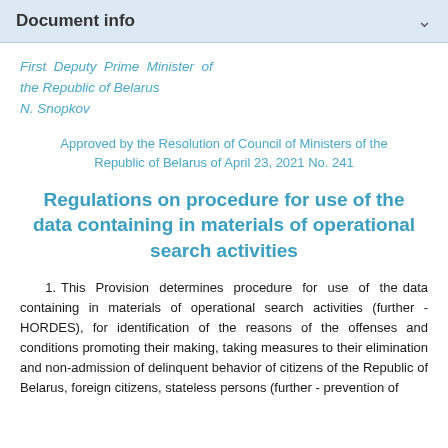Document info
First Deputy Prime Minister of the Republic of Belarus
N. Snopkov
Approved by the Resolution of Council of Ministers of the Republic of Belarus of April 23, 2021 No. 241
Regulations on procedure for use of the data containing in materials of operational search activities
1. This Provision determines procedure for use of the data containing in materials of operational search activities (further - HORDES), for identification of the reasons of the offenses and conditions promoting their making, taking measures to their elimination and non-admission of delinquent behavior of citizens of the Republic of Belarus, foreign citizens, stateless persons (further - prevention of